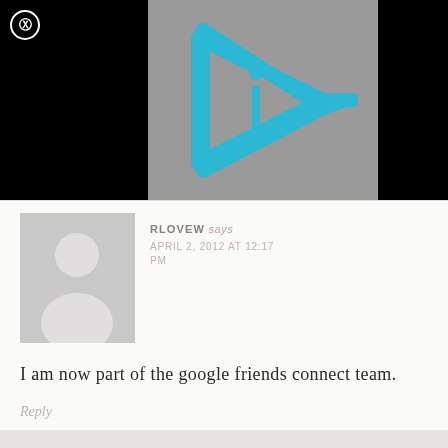[Figure (logo): Gray square with cyan/teal angular play button icon containing the letter 'i', on black background]
RLOVEW says
APRIL 2, 2012 AT 12:17 PM
I am now part of the google friends connect team.
Reply